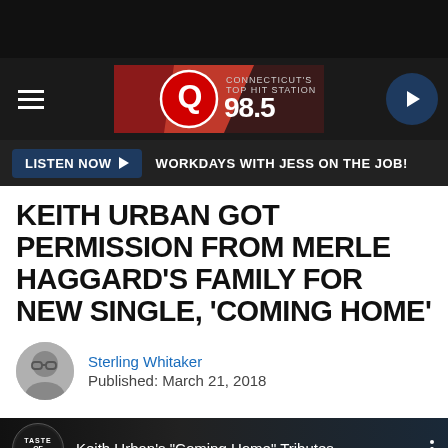[Figure (screenshot): Q98.5 radio station logo and header banner with hamburger menu and play button]
[Figure (screenshot): Listen Now button bar with text WORKDAYS WITH JESS ON THE JOB!]
KEITH URBAN GOT PERMISSION FROM MERLE HAGGARD'S FAMILY FOR NEW SINGLE, 'COMING HOME'
Sterling Whitaker
Published: March 21, 2018
[Figure (screenshot): Taste of Country video thumbnail for Keith Urban's Coming Home Tributes...]